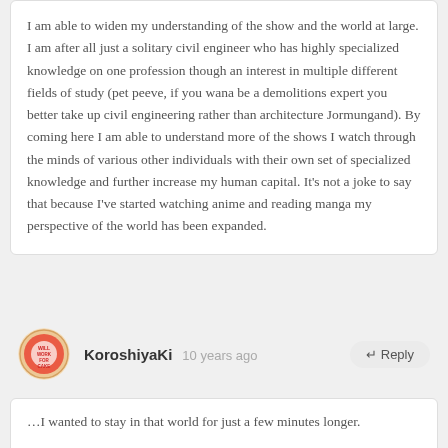I am able to widen my understanding of the show and the world at large. I am after all just a solitary civil engineer who has highly specialized knowledge on one profession though an interest in multiple different fields of study (pet peeve, if you wana be a demolitions expert you better take up civil engineering rather than architecture Jormungand). By coming here I am able to understand more of the shows I watch through the minds of various other individuals with their own set of specialized knowledge and further increase my human capital. It's not a joke to say that because I've started watching anime and reading manga my perspective of the world has been expanded.
KoroshiyaKi  10 years ago  ↵ Reply
…I wanted to stay in that world for just a few minutes longer.

Yes. Period. For ever.